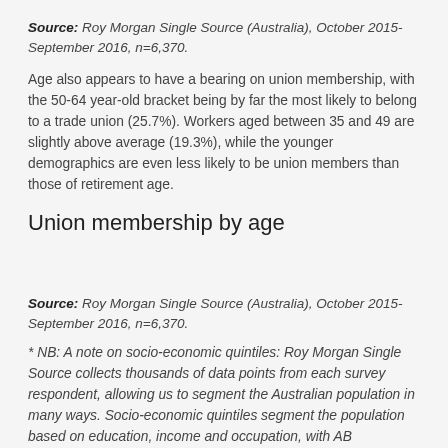Source: Roy Morgan Single Source (Australia), October 2015-September 2016, n=6,370.
Age also appears to have a bearing on union membership, with the 50-64 year-old bracket being by far the most likely to belong to a trade union (25.7%). Workers aged between 35 and 49 are slightly above average (19.3%), while the younger demographics are even less likely to be union members than those of retirement age.
Union membership by age
Source: Roy Morgan Single Source (Australia), October 2015-September 2016, n=6,370.
* NB: A note on socio-economic quintiles: Roy Morgan Single Source collects thousands of data points from each survey respondent, allowing us to segment the Australian population in many ways. Socio-economic quintiles segment the population based on education, income and occupation, with AB